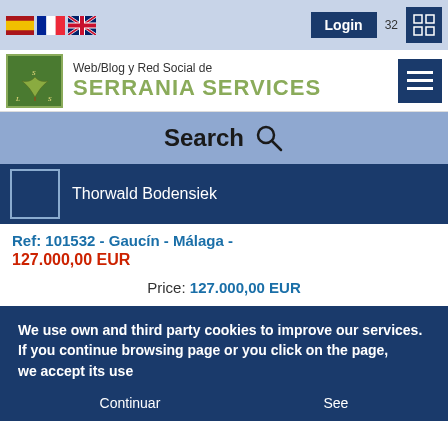Flags: ES, FR, UK | Login | 32
[Figure (logo): Serrania Services logo with tree graphic, green background, text: Web/Blog y Red Social de SERRANIA SERVICES]
Search
Thorwald Bodensiek
Ref: 101532 - Gaucín - Málaga - 127.000,00 EUR
Price: 127.000,00 EUR
We use own and third party cookies to improve our services.
If you continue browsing page or you click on the page,
we accept its use
Continuar | See